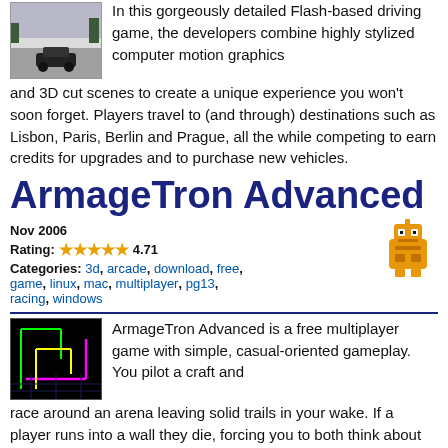[Figure (photo): Small thumbnail photo of a car on a snowy road]
In this gorgeously detailed Flash-based driving game, the developers combine highly stylized computer motion graphics and 3D cut scenes to create a unique experience you won't soon forget. Players travel to (and through) destinations such as Lisbon, Paris, Berlin and Prague, all the while competing to earn credits for upgrades and to purchase new vehicles.
ArmageTron Advanced
Nov 2006
Rating: ★★★★★ 4.71
Categories: 3d, arcade, download, free, game, linux, mac, multiplayer, pg13, racing, windows
[Figure (photo): ArmageTron Advanced game screenshot showing neon light trails on dark background]
ArmageTron Advanced is a free multiplayer game with simple, casual-oriented gameplay. You pilot a craft and race around an arena leaving solid trails in your wake. If a player runs into a wall they die, forcing you to both think about your path and watch out for everyone else. It's a fast-paced game of skill and reflexes and is available for download on all